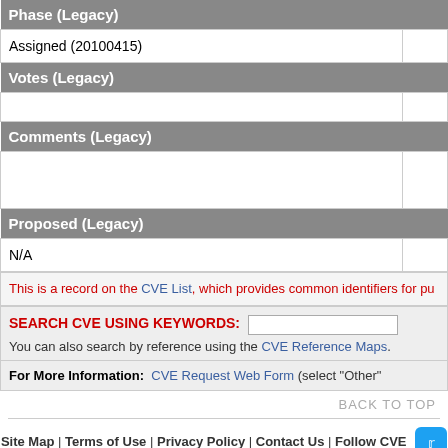| Phase (Legacy) |  |
| --- | --- |
| Assigned (20100415) |  |
| Votes (Legacy) |  |
| --- | --- |
|  |  |
| Comments (Legacy) |  |
| --- | --- |
|  |  |
| Proposed (Legacy) |  |
| --- | --- |
| N/A |  |
This is a record on the CVE List, which provides common identifiers for pu
SEARCH CVE USING KEYWORDS:
You can also search by reference using the CVE Reference Maps.
For More Information: CVE Request Web Form (select "Other"
BACK TO TOP
Site Map | Terms of Use | Privacy Policy | Contact Us | Follow CVE
Use of the CVE® List and the associated references from this website are subject to the terms of use. CVE is sponsored by the U.S. Department of Homeland